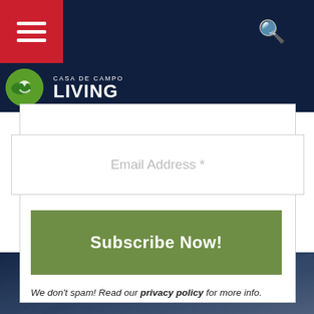Casa de Campo Living
once a week.
Email Address *
Subscribe Now!
We don't spam! Read our privacy policy for more info.
GOT AN EVENT TO PROMOTE?